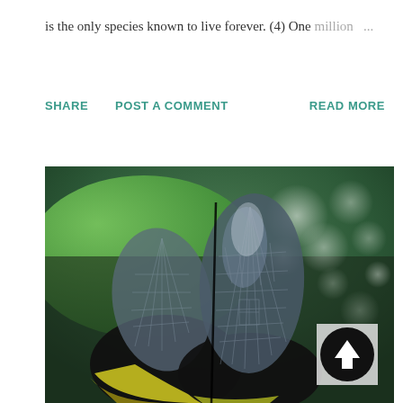is the only species known to live forever. (4) One million ...
SHARE   POST A COMMENT   READ MORE
[Figure (photo): Close-up macro photograph of two butterfly wing tips showing detailed wing venation patterns. The wings display black, translucent gray-blue, and yellow coloring against a blurred green and white bokeh background.]